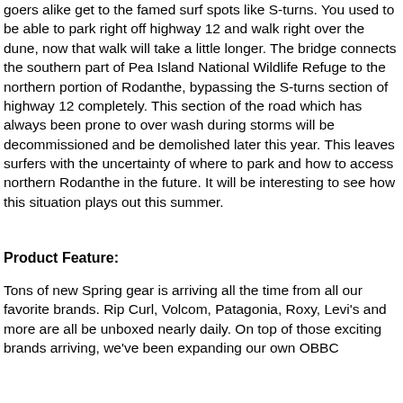goers alike get to the famed surf spots like S-turns. You used to be able to park right off highway 12 and walk right over the dune, now that walk will take a little longer. The bridge connects the southern part of Pea Island National Wildlife Refuge to the northern portion of Rodanthe, bypassing the S-turns section of highway 12 completely. This section of the road which has always been prone to over wash during storms will be decommissioned and be demolished later this year. This leaves surfers with the uncertainty of where to park and how to access northern Rodanthe in the future. It will be interesting to see how this situation plays out this summer.
Product Feature:
Tons of new Spring gear is arriving all the time from all our favorite brands. Rip Curl, Volcom, Patagonia, Roxy, Levi's and more are all be unboxed nearly daily. On top of those exciting brands arriving, we've been expanding our own OBBC